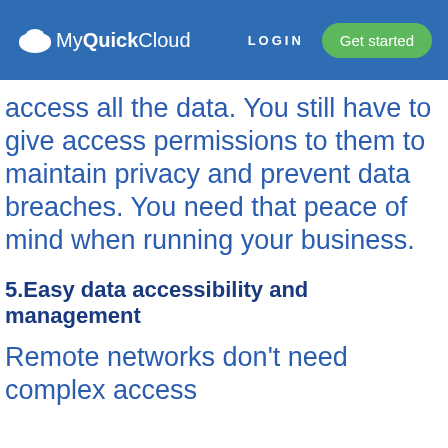MyQuickCloud | LOGIN | Get started
access all the data. You still have to give access permissions to them to maintain privacy and prevent data breaches. You need that peace of mind when running your business.
5.Easy data accessibility and management
Remote networks don’t need complex access